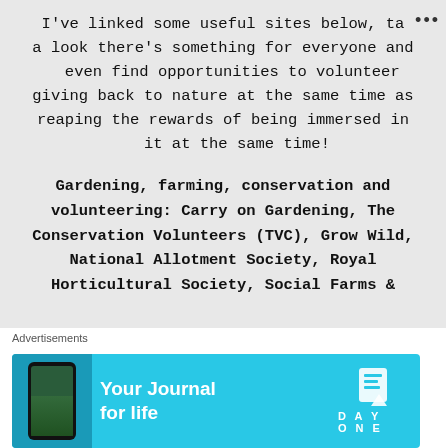I've linked some useful sites below, take a look there's something for everyone and even find opportunities to volunteer giving back to nature at the same time as reaping the rewards of being immersed in it at the same time!
Gardening, farming, conservation and volunteering: Carry on Gardening, The Conservation Volunteers (TVC), Grow Wild, National Allotment Society, Royal Horticultural Society, Social Farms &
[Figure (screenshot): Advertisement banner for Day One journal app with cyan background, showing a phone mockup on the left and the text 'Your Journal for life' with the Day One logo on the right.]